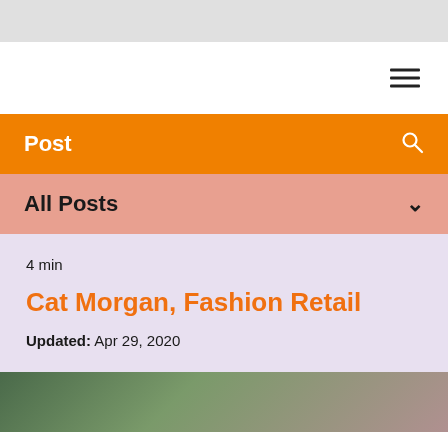[Figure (screenshot): Top gray navigation bar area]
[Figure (screenshot): Hamburger/menu icon with three horizontal lines]
Post
All Posts
4 min
Cat Morgan, Fashion Retail
Updated: Apr 29, 2020
[Figure (photo): Blurred photo at bottom of page, partially visible]